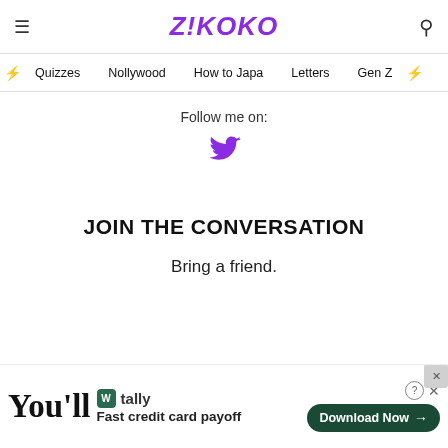≡ Z!KOKO 🔍
⚡ Quizzes   Nollywood   How to Japa   Letters   Gen Z ⚡
Follow me on:
[Figure (illustration): Purple Twitter bird icon]
JOIN THE CONVERSATION
Bring a friend.
[Figure (infographic): Advertisement banner: Tally app - Fast credit card payoff. Download Now button. You'll text partially visible.]